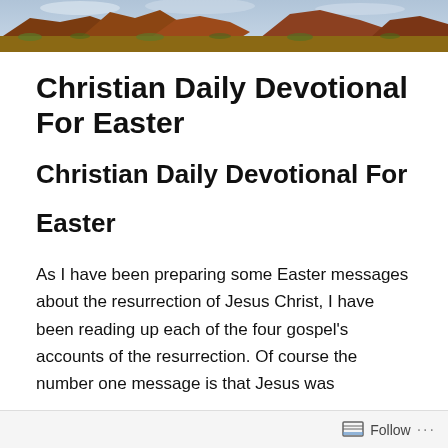[Figure (photo): Header banner photograph showing a desert landscape with red rock formations and scrubby vegetation under a cloudy sky.]
Christian Daily Devotional For Easter
Christian Daily Devotional For
Easter
As I have been preparing some Easter messages about the resurrection of Jesus Christ, I have been reading up each of the four gospel's accounts of the resurrection. Of course the number one message is that Jesus was
Follow